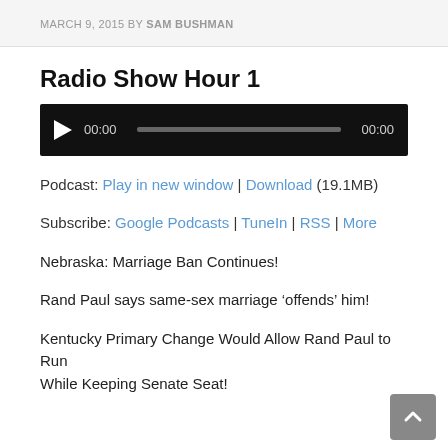MARCH 9, 2015 BY SAM BUSHMAN
Radio Show Hour 1
[Figure (other): Audio player with play button, time display 00:00, scrubber bar, and end time 00:00 on black background]
Podcast: Play in new window | Download (19.1MB)
Subscribe: Google Podcasts | TuneIn | RSS | More
Nebraska: Marriage Ban Continues!
Rand Paul says same-sex marriage ‘offends’ him!
Kentucky Primary Change Would Allow Rand Paul to Run While Keeping Senate Seat!